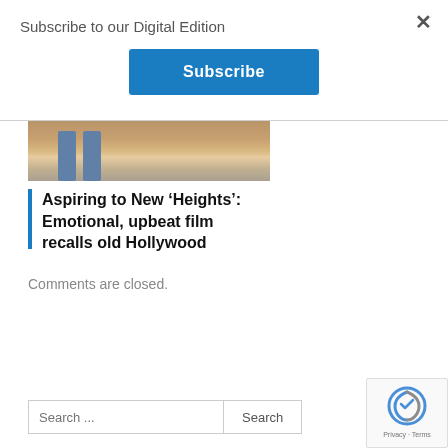Subscribe to our Digital Edition
Subscribe
[Figure (photo): Partial view of people's legs and feet on pavement, cropped image strip]
Aspiring to New ‘Heights’: Emotional, upbeat film recalls old Hollywood
Comments are closed.
Search ... Search
[Figure (logo): reCAPTCHA badge with logo and Privacy - Terms text]